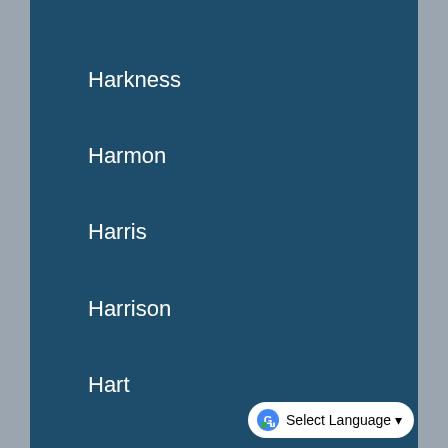Harkness
Harmon
Harris
Harrison
Hart
Hartshorn
Hatch
Hattaway
[Figure (screenshot): Google Translate 'Select Language' dropdown button in bottom-right corner]